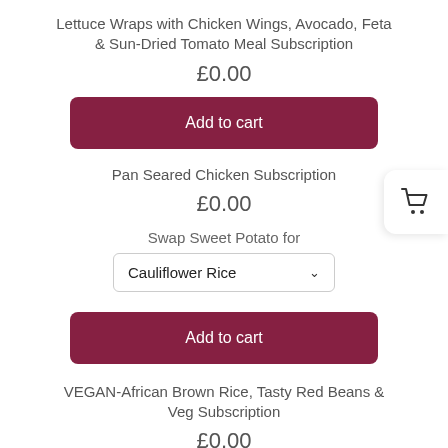Lettuce Wraps with Chicken Wings, Avocado, Feta & Sun-Dried Tomato Meal Subscription
£0.00
Add to cart
Pan Seared Chicken Subscription
£0.00
Swap Sweet Potato for
Cauliflower Rice
Add to cart
VEGAN-African Brown Rice, Tasty Red Beans & Veg Subscription
£0.00
Swap African Brown Rice For